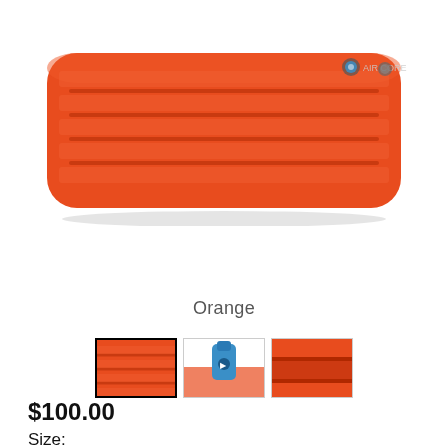[Figure (photo): Orange inflatable sleeping pad / air mat with ribbed tube construction and a small logo on the upper right corner. The pad is orange-red with parallel horizontal tube ridges.]
Orange
[Figure (photo): Three product thumbnail images: first (selected, with black border) shows a close-up of the orange mat tubes; second shows the blue pump/valve accessory with the orange mat behind; third shows a rolled or side view of the red-orange mat.]
$100.00
Size: